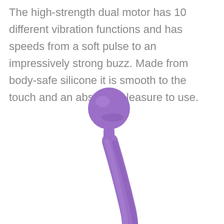The high-strength dual motor has 10 different vibration functions and has speeds from a soft pulse to an impressively strong buzz. Made from body-safe silicone it is smooth to the touch and an absolute pleasure to use.
[Figure (photo): A purple silicone wand massager/vibrator with a large round ball head, a narrow neck with a small metallic accent, and a curved handle. The product is shown on a white background, angled diagonally with the head at the upper left and the handle extending to the lower right.]